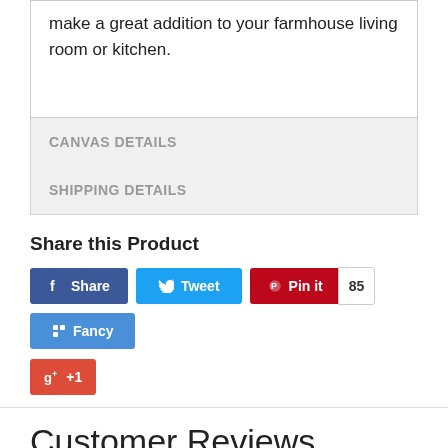make a great addition to your farmhouse living room or kitchen.
CANVAS DETAILS
SHIPPING DETAILS
Share this Product
[Figure (other): Social share buttons: Facebook Share, Twitter Tweet, Pinterest Pin it (85 pins), Fancy, Google+1]
Customer Reviews
[Figure (other): Star rating display showing approximately 4.5 out of 5 stars in yellow/gold color]